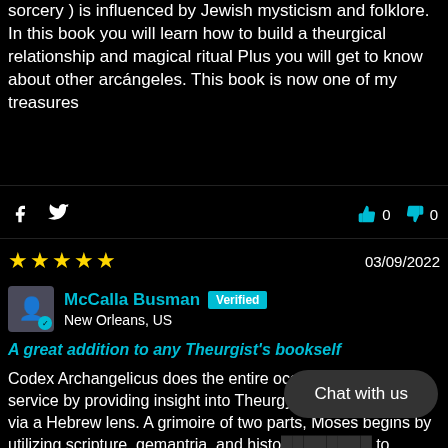sorcery ) is influenced by Jewish mysticism and folklore. In this book you will learn how to build a theurgical relationship and magical ritual Plus you will get to know about other arcángeles. This book is now one of my treasures
0   0
★★★★★   03/09/2022
McCalla Busman  Verified  New Orleans, US
A great addition to any Theurgist's bookself
Codex Archangelicus does the entire occult community a service by providing insight into Theurgy and Angel magic via a Hebrew lens. A grimoire of two parts, Moses begins by utilizing scripture, gemantria, and historical research to uncover the real roots of Michael's name, 's primary functions, and the astrological e should use when deleniating correspondences of magical timing for the Archangel.